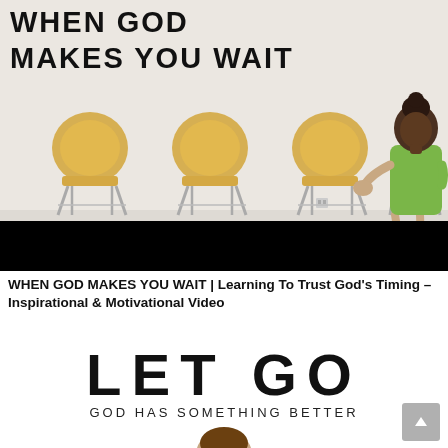[Figure (photo): Image showing 'WHEN GOD MAKES YOU WAIT' text overlaid on a waiting room scene with four yellow wooden chairs and a woman in a green shirt sitting and looking at her phone. ABOVE INSPIRATION branding visible. Bottom portion has a black bar (video thumbnail style).]
WHEN GOD MAKES YOU WAIT | Learning To Trust God's Timing – Inspirational & Motivational Video
[Figure (photo): Image showing 'LET GO' in large bold letters and 'GOD HAS SOMETHING BETTER' below it, with top of a person's head visible at the bottom.]